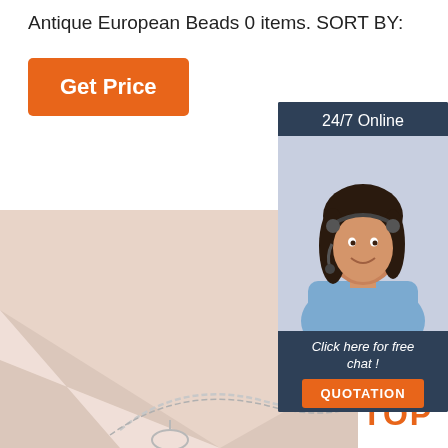Antique European Beads 0 items. SORT BY:
Get Price
[Figure (photo): Customer service representative woman wearing headset, smiling, with '24/7 Online' banner and 'Click here for free chat! QUOTATION' call-to-action widget]
[Figure (photo): Close-up photo of a silver necklace/jewelry item on a pale pink/beige background, with a 'TOP' badge in orange in the corner]